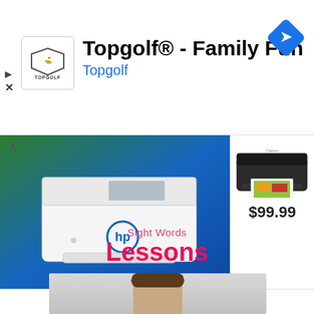[Figure (screenshot): Topgolf advertisement banner with logo, title 'Topgolf® - Family Fun', subtitle 'Topgolf', and navigation arrow icon]
[Figure (screenshot): HP LaserJet printer on green-blue gradient background with Canon printer thumbnail and price $99.99]
Sight Words
Lessons
[Figure (photo): Portrait photo of a woman with brown hair, partially visible at bottom of page]